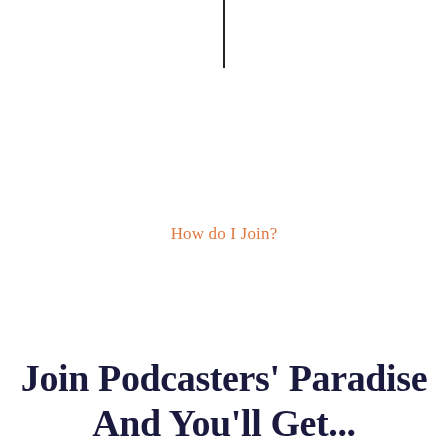[Figure (other): A vertical black line, centered horizontally at the top of the page]
How do I Join?
Join Podcasters' Paradise And You'll Get...